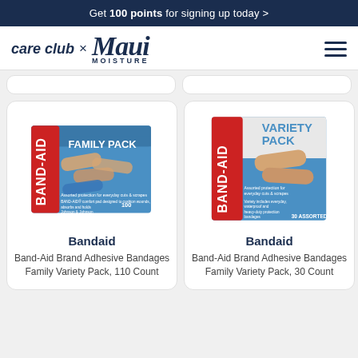Get 100 points for signing up today >
[Figure (logo): care club x Maui Moisture brand logo with hamburger menu]
[Figure (photo): Band-Aid Brand Adhesive Bandages Family Pack 110 Count box]
Bandaid
Band-Aid Brand Adhesive Bandages Family Variety Pack, 110 Count
[Figure (photo): Band-Aid Brand Adhesive Bandages Variety Pack 30 Count box]
Bandaid
Band-Aid Brand Adhesive Bandages Family Variety Pack, 30 Count